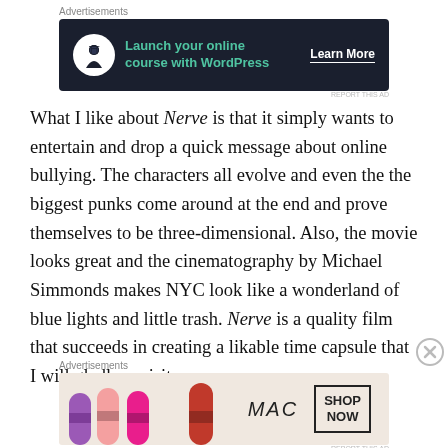[Figure (other): Advertisement banner: dark navy background with a tree/person icon in a white circle, teal text 'Launch your online course with WordPress', and white 'Learn More' call-to-action with underline]
What I like about Nerve is that it simply wants to entertain and drop a quick message about online bullying. The characters all evolve and even the the biggest punks come around at the end and prove themselves to be three-dimensional. Also, the movie looks great and the cinematography by Michael Simmonds makes NYC look like a wonderland of blue lights and little trash. Nerve is a quality film that succeeds in creating a likable time capsule that I will gladly revisit.
[Figure (other): MAC cosmetics advertisement banner showing colorful lipsticks on left, MAC logo in script, and 'SHOP NOW' button in a box on the right]